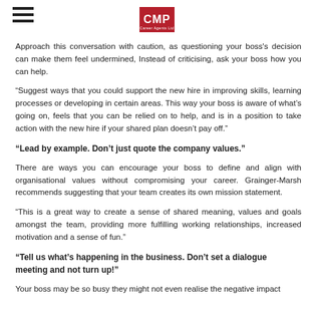CMP
Approach this conversation with caution, as questioning your boss's decision can make them feel undermined, Instead of criticising, ask your boss how you can help.
“Suggest ways that you could support the new hire in improving skills, learning processes or developing in certain areas. This way your boss is aware of what’s going on, feels that you can be relied on to help, and is in a position to take action with the new hire if your shared plan doesn’t pay off.”
“Lead by example. Don’t just quote the company values.”
There are ways you can encourage your boss to define and align with organisational values without compromising your career. Grainger-Marsh recommends suggesting that your team creates its own mission statement.
“This is a great way to create a sense of shared meaning, values and goals amongst the team, providing more fulfilling working relationships, increased motivation and a sense of fun.”
“Tell us what’s happening in the business. Don’t set a dialogue meeting and not turn up!”
Your boss may be so busy they might not even realise the negative impact